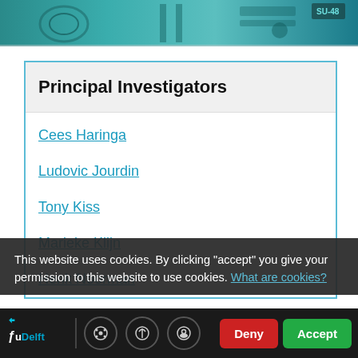[Figure (photo): Top banner showing industrial/engineering equipment (bioreactor or similar machinery) with teal/cyan color tones and a label 'SU-48' visible]
Principal Investigators
Cees Haringa
Ludovic Jourdin
Tony Kiss
Marieke Klijn
Henk Noorman
This website uses cookies. By clicking "accept" you give your permission to this website to use cookies. What are cookies?
Adrie Straathof
Luuk van der Wielen
TUDelft | Deny | Accept